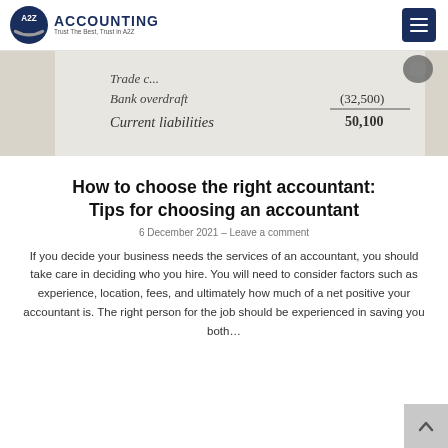A2Z ACCOUNTING — Trust The Best, Trust in A2Z
[Figure (photo): Close-up photograph of a handwritten accounting ledger showing entries including 'Trade c...', 'Bank overdraft', 'Current liabilities', with values (32,500) and 50,100]
How to choose the right accountant: Tips for choosing an accountant
6 December 2021 – Leave a comment
If you decide your business needs the services of an accountant, you should take care in deciding who you hire. You will need to consider factors such as experience, location, fees, and ultimately how much of a net positive your accountant is. The right person for the job should be experienced in saving you both…